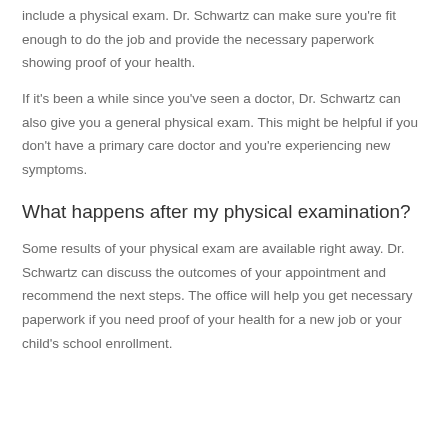include a physical exam. Dr. Schwartz can make sure you're fit enough to do the job and provide the necessary paperwork showing proof of your health.
If it's been a while since you've seen a doctor, Dr. Schwartz can also give you a general physical exam. This might be helpful if you don't have a primary care doctor and you're experiencing new symptoms.
What happens after my physical examination?
Some results of your physical exam are available right away. Dr. Schwartz can discuss the outcomes of your appointment and recommend the next steps. The office will help you get necessary paperwork if you need proof of your health for a new job or your child's school enrollment.